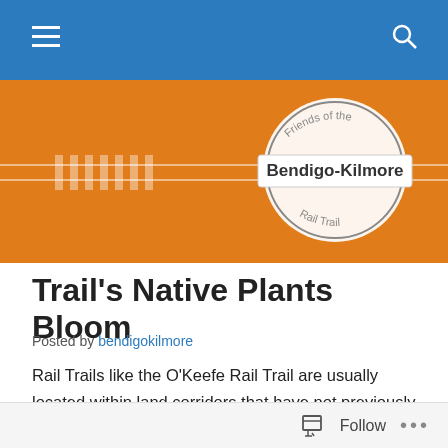[Figure (screenshot): Blue navigation bar with hamburger menu icon on left and search icon on right]
[Figure (logo): Orange banner with rail track graphic and circular logo reading 'Friends of the Bendigo-Kilmore Rail Trail']
Trail's Native Plants Bloom
Posted by bendigokilmore
Rail Trails like the O'Keefe Rail Trail are usually located within land corridors that have not previously been fully cleared of trees and/or were not grazed by introduced farmed animals. Such trails provide protection for native
Follow